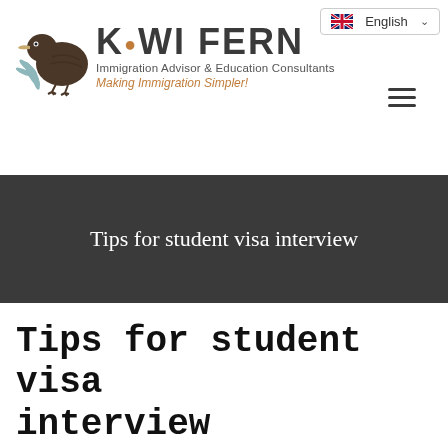[Figure (logo): Kiwi Fern logo with kiwi bird illustration, brand name KIWI FERN, subtitle Immigration Advisor & Education Consultants, tagline Making Immigration Simpler!]
Tips for student visa interview
Tips for student visa interview
Having a visa interview is a